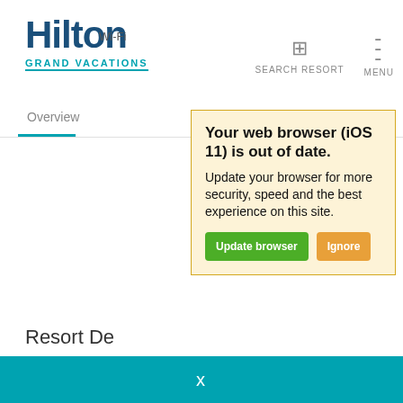[Figure (screenshot): Hilton Grand Vacations website screenshot showing a browser update warning popup, a cookie consent banner, and an 'Amenities & Features' section heading.]
Your web browser (iOS 11) is out of date.
Update your browser for more security, speed and the best experience on this site.
Update browser   Ignore
Amenities & Features
This website uses cookies to ensure you get the best experience on our website.
Learn More
x
Wi-Fi
Laundry